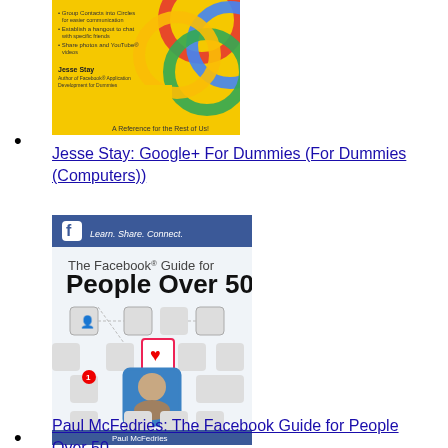[Figure (photo): Book cover: Jesse Stay - Google+ For Dummies (For Dummies Computers). Yellow cover with colorful overlapping circles.]
Jesse Stay: Google+ For Dummies (For Dummies (Computers))
[Figure (photo): Book cover: Paul McFedries - The Facebook Guide for People Over 50. Light blue/white cover with Facebook-style network icons.]
Paul McFedries: The Facebook Guide for People Over 50